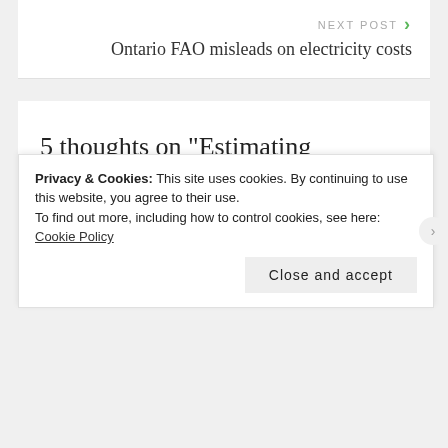NEXT POST
Ontario FAO misleads on electricity costs
5 thoughts on “Estimating Ontario’s Electricity Supply Costs with OEB data”
Privacy & Cookies: This site uses cookies. By continuing to use this website, you agree to their use.
To find out more, including how to control cookies, see here: Cookie Policy
Close and accept